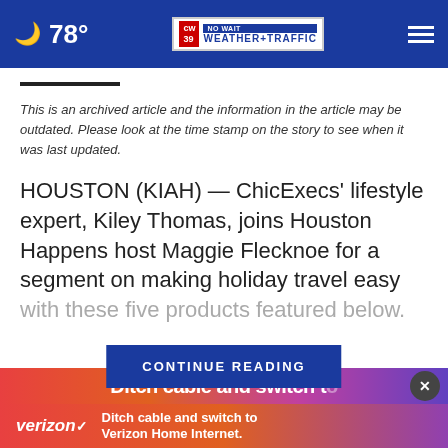78° CW39 NO WAIT WEATHER+TRAFFIC
This is an archived article and the information in the article may be outdated. Please look at the time stamp on the story to see when it was last updated.
HOUSTON (KIAH) — ChicExecs' lifestyle expert, Kiley Thomas, joins Houston Happens host Maggie Flecknoe for a segment on making holiday travel easy with these five products featured below.
CONTINUE READING
[Figure (screenshot): Verizon advertisement banner: 'Ditch cable and switch to Verizon Home Internet.']